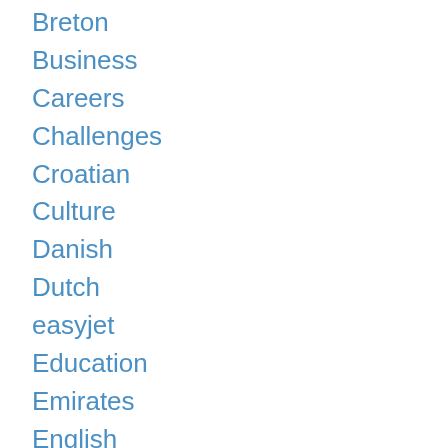Breton
Business
Careers
Challenges
Croatian
Culture
Danish
Dutch
easyjet
Education
Emirates
English
Entertainment
Esperanto
Etymology